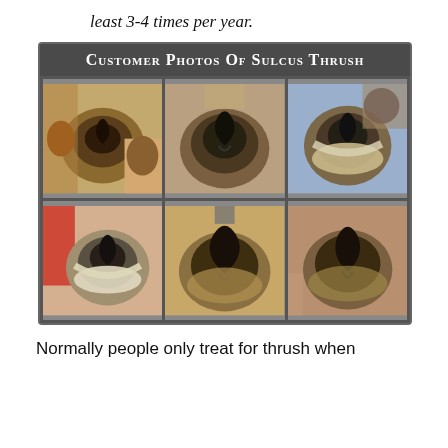least 3-4 times per year.
[Figure (photo): Customer photos of Sulcus Thrush — a 2x3 grid of six photographs showing horse hooves with sulcus thrush infection, displaying dark discoloration and infection in the frog area of the hooves]
Customer Photos of Sulcus Thrush
Normally people only treat for thrush when